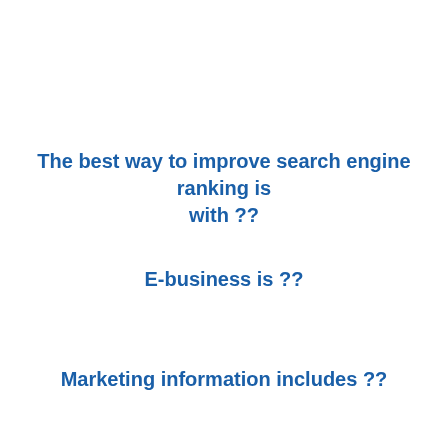The best way to improve search engine ranking is with ??
E-business is ??
Marketing information includes ??